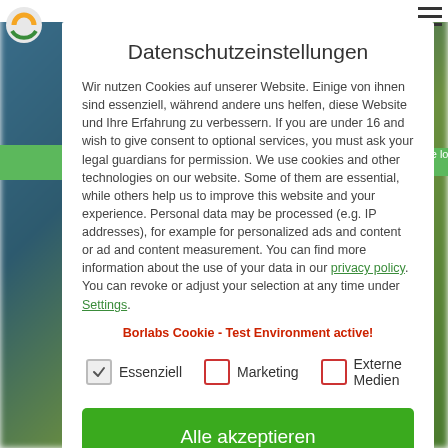Datenschutzeinstellungen
Wir nutzen Cookies auf unserer Website. Einige von ihnen sind essenziell, während andere uns helfen, diese Website und Ihre Erfahrung zu verbessern. If you are under 16 and wish to give consent to optional services, you must ask your legal guardians for permission. We use cookies and other technologies on our website. Some of them are essential, while others help us to improve this website and your experience. Personal data may be processed (e.g. IP addresses), for example for personalized ads and content or ad and content measurement. You can find more information about the use of your data in our privacy policy. You can revoke or adjust your selection at any time under Settings. Borlabs Cookie - Test Environment active!
Essenziell
Marketing
Externe Medien
Alle akzeptieren